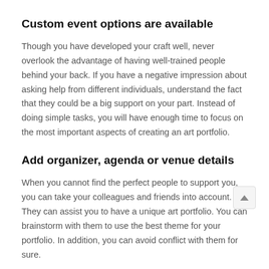Custom event options are available
Though you have developed your craft well, never overlook the advantage of having well-trained people behind your back. If you have a negative impression about asking help from different individuals, understand the fact that they could be a big support on your part. Instead of doing simple tasks, you will have enough time to focus on the most important aspects of creating an art portfolio.
Add organizer, agenda or venue details
When you cannot find the perfect people to support you, you can take your colleagues and friends into account. They can assist you to have a unique art portfolio. You can brainstorm with them to use the best theme for your portfolio. In addition, you can avoid conflict with them for sure.